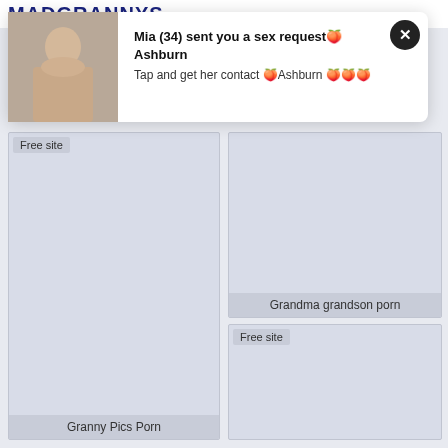MADGRANNYS
[Figure (screenshot): Pop-up notification with photo of woman and text: Mia (34) sent you a sex request Ashburn. Tap and get her contact Ashburn.]
Free site
Granny Pics Porn
Grandma grandson porn
Free site